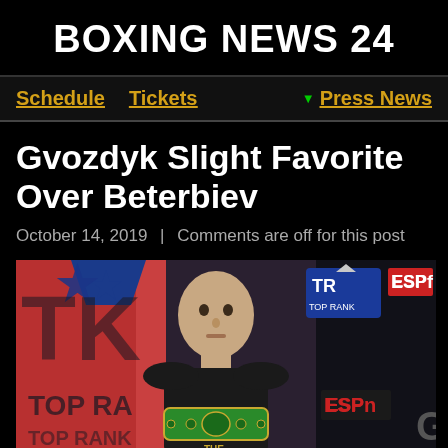BOXING NEWS 24
Schedule   Tickets   ▼ Press News
Gvozdyk Slight Favorite Over Beterbiev
October 14, 2019  |  Comments are off for this post
[Figure (photo): Boxer Gvozdyk posing with WBC championship belt at a Top Rank / ESPN press event. He is wearing a black shirt, holding a green WBC belt. Background shows Top Rank and ESPN logos/banners.]